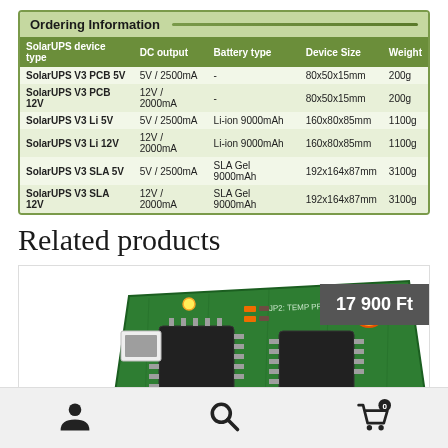Ordering Information
| SolarUPS device type | DC output | Battery type | Device Size | Weight |
| --- | --- | --- | --- | --- |
| SolarUPS V3 PCB 5V | 5V / 2500mA | - | 80x50x15mm | 200g |
| SolarUPS V3 PCB 12V | 12V / 2000mA | - | 80x50x15mm | 200g |
| SolarUPS V3 Li 5V | 5V / 2500mA | Li-ion 9000mAh | 160x80x85mm | 1100g |
| SolarUPS V3 Li 12V | 12V / 2000mA | Li-ion 9000mAh | 160x80x85mm | 1100g |
| SolarUPS V3 SLA 5V | 5V / 2500mA | SLA Gel 9000mAh | 192x164x87mm | 3100g |
| SolarUPS V3 SLA 12V | 12V / 2000mA | SLA Gel 9000mAh | 192x164x87mm | 3100g |
Related products
[Figure (photo): Photo of a green PCB circuit board (SolarUPS module) with components including chips, connectors, and yellow LED. Price badge showing 17 900 Ft in the top right corner.]